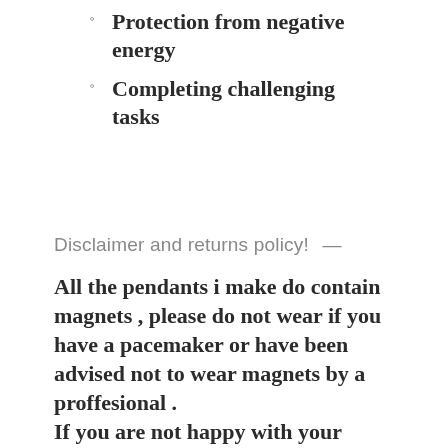Protection from negative energy
Completing challenging tasks
Disclaimer and returns policy!  —
All the pendants i make do contain magnets , please do not wear if you have a pacemaker or have been advised not to wear magnets by a proffesional .
If you are not happy with your product you can return it within 14 days a full refund or exchange will be given to the same value as long as there are no